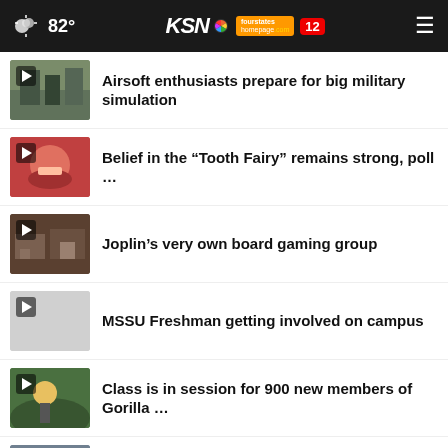82° KSN fourstates homepage .com 12
Airsoft enthusiasts prepare for big military simulation
Belief in the “Tooth Fairy” remains strong, poll …
Joplin’s very own board gaming group
MSSU Freshman getting involved on campus
Class is in session for 900 new members of Gorilla …
Kansas law enforcement increase presence for Labor …